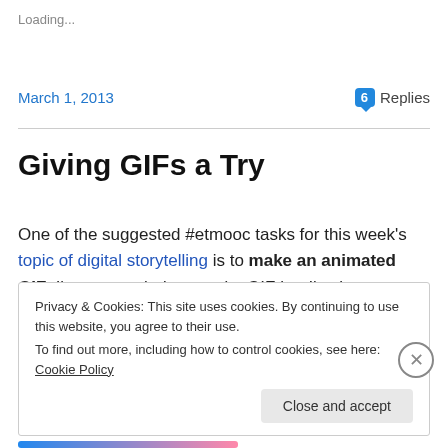Loading...
March 1, 2013
6 Replies
Giving GIFs a Try
One of the suggested #etmooc tasks for this week's topic of digital storytelling is to make an animated GIF. I've never tried created a GIF but I've been very interested in
Privacy & Cookies: This site uses cookies. By continuing to use this website, you agree to their use.
To find out more, including how to control cookies, see here: Cookie Policy
Close and accept